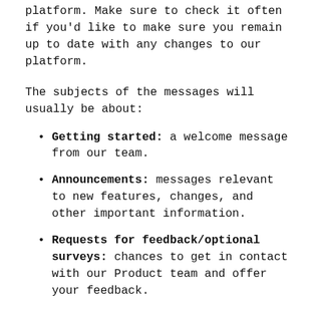platform. Make sure to check it often if you'd like to make sure you remain up to date with any changes to our platform.
The subjects of the messages will usually be about:
Getting started: a welcome message from our team.
Announcements: messages relevant to new features, changes, and other important information.
Requests for feedback/optional surveys: chances to get in contact with our Product team and offer your feedback.
Back to top
Quick Links